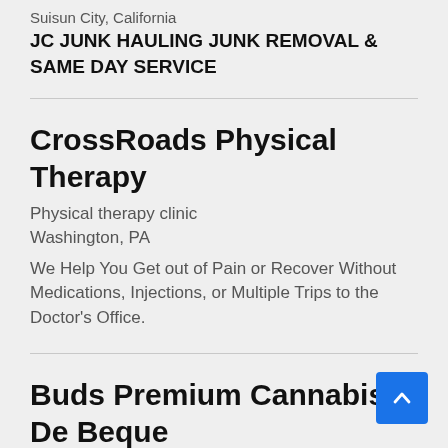Suisun City, California
JC JUNK HAULING JUNK REMOVAL & SAME DAY SERVICE
CrossRoads Physical Therapy
Physical therapy clinic
Washington, PA
We Help You Get out of Pain or Recover Without Medications, Injections, or Multiple Trips to the Doctor’s Office.
Buds Premium Cannabis – De Beque
Cannabis store